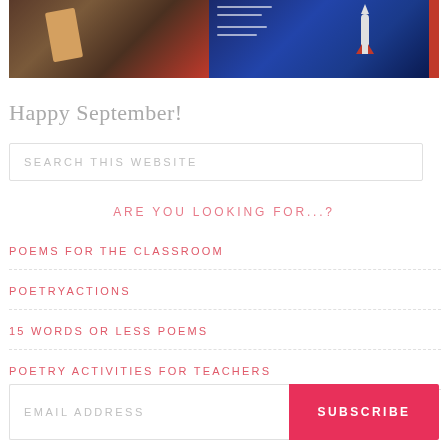[Figure (photo): Banner image showing two panels: left panel with dark warm-toned room scene, right panel with rocket/space infographic on blue background]
Happy September!
SEARCH THIS WEBSITE
ARE YOU LOOKING FOR...?
POEMS FOR THE CLASSROOM
POETRYACTIONS
15 WORDS OR LESS POEMS
POETRY ACTIVITIES FOR TEACHERS
EMAIL ADDRESS
SUBSCRIBE